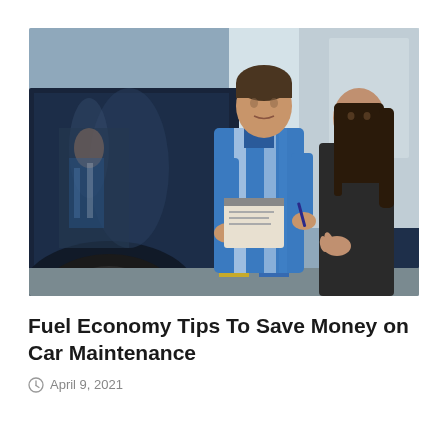[Figure (photo): A car mechanic in a blue striped uniform holding a clipboard/notepad and pen, talking with a woman in a black blazer beside a dark blue car in an auto service garage. The car door is open and the mechanic's reflection is visible in the car body.]
Fuel Economy Tips To Save Money on Car Maintenance
April 9, 2021